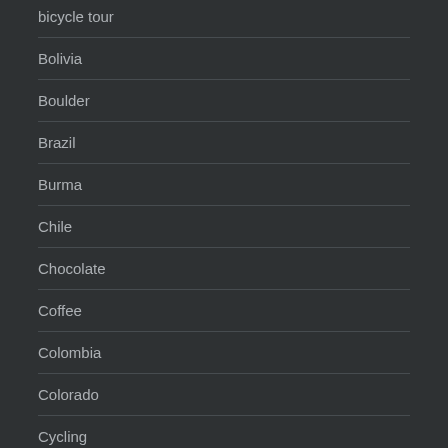bicycle tour
Bolivia
Boulder
Brazil
Burma
Chile
Chocolate
Coffee
Colombia
Colorado
Cycling